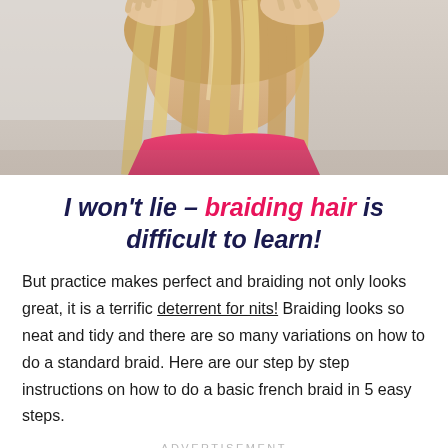[Figure (photo): Close-up photo of a young girl with long blonde hair being braided, seen from behind, wearing a pink shirt, in a bathroom setting.]
I won't lie – braiding hair is difficult to learn!
But practice makes perfect and braiding not only looks great, it is a terrific deterrent for nits! Braiding looks so neat and tidy and there are so many variations on how to do a standard braid. Here are our step by step instructions on how to do a basic french braid in 5 easy steps.
ADVERTISEMENT